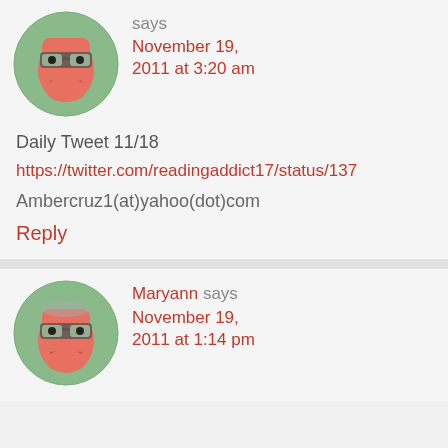[Figure (illustration): Cartoon avatar of a blocky orange face with glasses on green circular background]
says
November 19, 2011 at 3:20 am
Daily Tweet 11/18
https://twitter.com/readingaddict17/status/137
Ambercruz1(at)yahoo(dot)com
Reply
[Figure (illustration): Cartoon avatar of a blocky orange face with glasses on green circular background]
Maryann says
November 19, 2011 at 1:14 pm